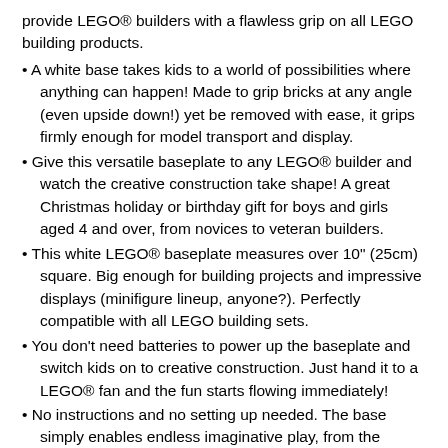provide LEGO® builders with a flawless grip on all LEGO building products.
A white base takes kids to a world of possibilities where anything can happen! Made to grip bricks at any angle (even upside down!) yet be removed with ease, it grips firmly enough for model transport and display.
Give this versatile baseplate to any LEGO® builder and watch the creative construction take shape! A great Christmas holiday or birthday gift for boys and girls aged 4 and over, from novices to veteran builders.
This white LEGO® baseplate measures over 10" (25cm) square. Big enough for building projects and impressive displays (minifigure lineup, anyone?). Perfectly compatible with all LEGO building sets.
You don't need batteries to power up the baseplate and switch kids on to creative construction. Just hand it to a LEGO® fan and the fun starts flowing immediately!
No instructions and no setting up needed. The base simply enables endless imaginative play, from the moment it is removed from the box.